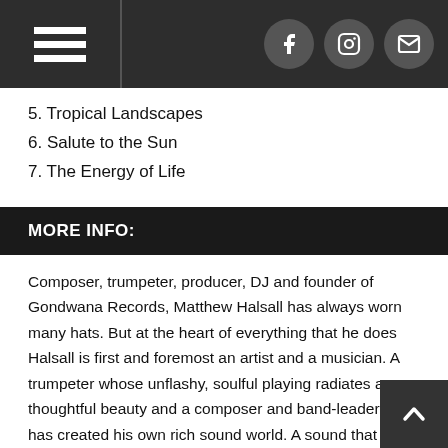Navigation header with hamburger menu and social icons (Facebook, Instagram, Email)
5. Tropical Landscapes
6. Salute to the Sun
7. The Energy of Life
MORE INFO:
Composer, trumpeter, producer, DJ and founder of Gondwana Records, Matthew Halsall has always worn many hats. But at the heart of everything that he does Halsall is first and foremost an artist and a musician. A trumpeter whose unflashy, soulful playing radiates a thoughtful beauty and a composer and band-leader who has created his own rich sound world. A sound that draws on the heritage of British jazz, the spiritual jazz of Alice Coltrane and Pharoah Sanders, as well as world music and electronica influences, and even modern art and architecture, to create something uniquely his own. A music that is rooted in Northern England but draws on global inspirations. Salute to the Sun is his first album as a leader since Into Forever (2015) and marks the debut of his new band. A hand-picked ensemble featuring some of Manchester's finest young musicians: Matt Cliffe flute &